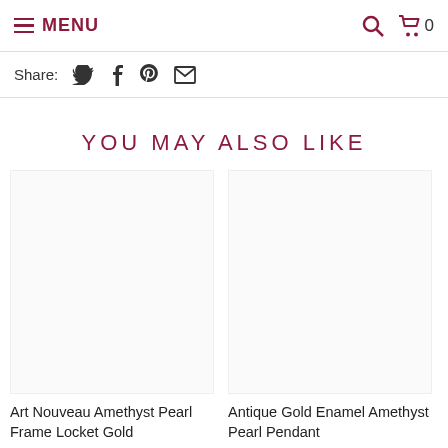MENU  🔍  🛒 0
Share:  🐦  f  𝗣  ✉
YOU MAY ALSO LIKE
[Figure (photo): Product image placeholder (blank/loading) for Art Nouveau Amethyst Pearl Frame Locket Gold]
[Figure (photo): Product image placeholder (blank/loading) for Antique Gold Enamel Amethyst Pearl Pendant]
Art Nouveau Amethyst Pearl Frame Locket Gold
Antique Gold Enamel Amethyst Pearl Pendant